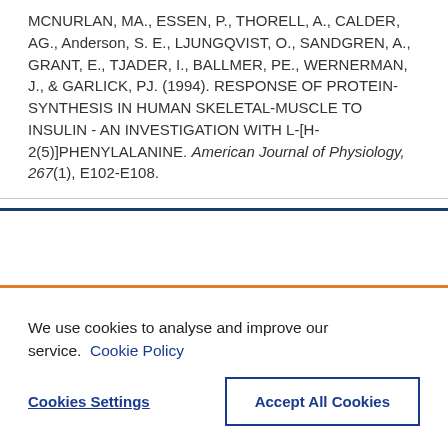MCNURLAN, MA., ESSEN, P., THORELL, A., CALDER, AG., Anderson, S. E., LJUNGQVIST, O., SANDGREN, A., GRANT, E., TJADER, I., BALLMER, PE., WERNERMAN, J., & GARLICK, PJ. (1994). RESPONSE OF PROTEIN-SYNTHESIS IN HUMAN SKELETAL-MUSCLE TO INSULIN - AN INVESTIGATION WITH L-[H-2(5)]PHENYLALANINE. American Journal of Physiology, 267(1), E102-E108.
We use cookies to analyse and improve our service. Cookie Policy
Cookies Settings
Accept All Cookies